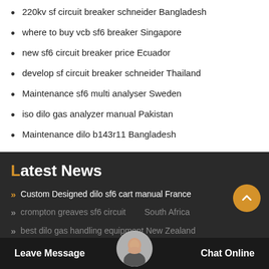220kv sf circuit breaker schneider Bangladesh
where to buy vcb sf6 breaker Singapore
new sf6 circuit breaker price Ecuador
develop sf circuit breaker schneider Thailand
Maintenance sf6 multi analyser Sweden
iso dilo gas analyzer manual Pakistan
Maintenance dilo b143r11 Bangladesh
Latest News
Custom Designed dilo sf6 cart manual France
crompton greaves sf6 circuit breaker South Africa
best dilo gas handling equipment New Zealand